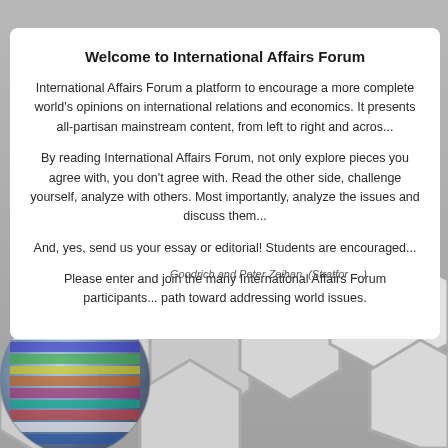Welcome to International Affairs Forum
International Affairs Forum a platform to encourage a more complete world's opinions on international relations and economics. It presents all-partisan mainstream content, from left to right and acros...
By reading International Affairs Forum, not only explore pieces you agree with, you don't agree with. Read the other side, challenge yourself, analyze with others. Most importantly, analyze the issues and discuss them...
And, yes, send us your essay or editorial! Students are encouraged...
Please enter and join the many International Affairs Forum participants... path toward addressing world issues.
Goodrich and Peter Zeihan. (Stratfor ... )
[Figure (illustration): Background with hexagonal silver shapes and a globe with national flags]